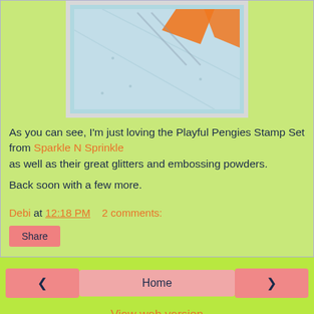[Figure (photo): Partial view of a crafted card featuring a penguin design on light blue background with orange elements, shown with a gray/white border, on a green background.]
As you can see, I'm just loving the Playful Pengies Stamp Set from Sparkle N Sprinkle
as well as their great glitters and embossing powders.
Back soon with a few more.
Debi at 12:18 PM    2 comments:
Share
< Home >
View web version
Powered by Blogger.